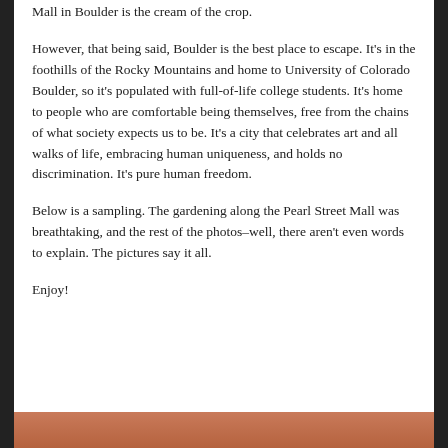Mall in Boulder is the cream of the crop.
However, that being said, Boulder is the best place to escape. It’s in the foothills of the Rocky Mountains and home to University of Colorado Boulder, so it’s populated with full-of-life college students. It’s home to people who are comfortable being themselves, free from the chains of what society expects us to be. It’s a city that celebrates art and all walks of life, embracing human uniqueness, and holds no discrimination. It’s pure human freedom.
Below is a sampling. The gardening along the Pearl Street Mall was breathtaking, and the rest of the photos–well, there aren’t even words to explain. The pictures say it all.
Enjoy!
[Figure (photo): Partial photo strip visible at the bottom of the page, showing a warm reddish-brown color (appears to be an outdoor photo from Boulder).]